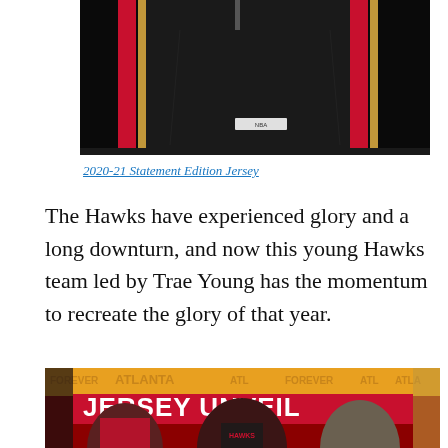[Figure (photo): Atlanta Hawks Statement Edition Jersey hanging on a rack, dark/black background with red and gold stripe details, NBA logo tag visible]
2020-21 Statement Edition Jersey
The Hawks have experienced glory and a long downturn, and now this young Hawks team led by Trae Young has the momentum to recreate the glory of that year.
[Figure (photo): Atlanta Hawks Jersey Unveil promotional image showing three Hawks players (including Trae Young) wearing new jerseys, with JERSEY UNVEIL text overlay and Atlanta Hawks branding in red, yellow and black]